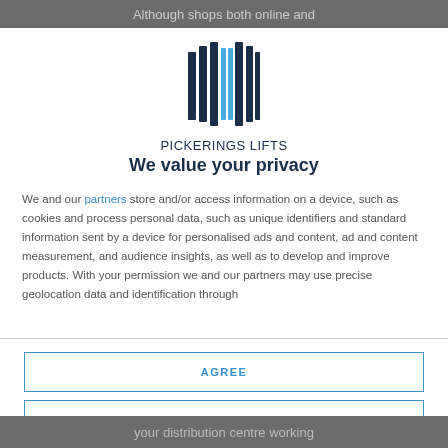Although shops both online and
[Figure (logo): Pickerings Lifts logo — dark navy vertical bars flanking two light blue vertical bars, forming a stylized building/lift icon]
PICKERINGS LIFTS
We value your privacy
We and our partners store and/or access information on a device, such as cookies and process personal data, such as unique identifiers and standard information sent by a device for personalised ads and content, ad and content measurement, and audience insights, as well as to develop and improve products. With your permission we and our partners may use precise geolocation data and identification through
AGREE
MORE OPTIONS
your distribution centre working